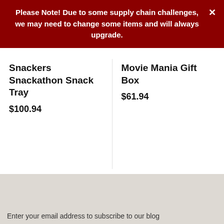Please Note! Due to some supply chain challenges, we may need to change some items and will always upgrade.
Snackers Snackathon Snack Tray
$100.94
Movie Mania Gift Box
$61.94
Enter your email address to subscribe to our blog